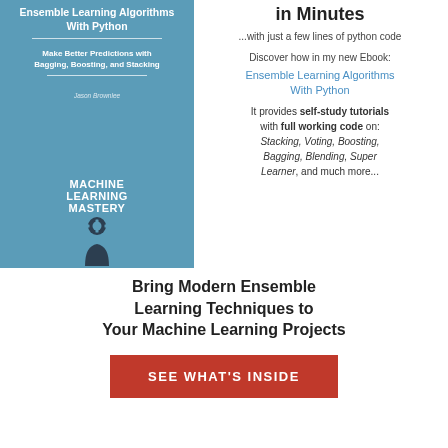[Figure (illustration): Book cover for 'Ensemble Learning Algorithms With Python' by Jason Brownlee, Machine Learning Mastery, with a blue background and a silhouette figure with a gear icon.]
in Minutes
...with just a few lines of python code
Discover how in my new Ebook:
Ensemble Learning Algorithms With Python
It provides self-study tutorials with full working code on: Stacking, Voting, Boosting, Bagging, Blending, Super Learner, and much more...
Bring Modern Ensemble Learning Techniques to Your Machine Learning Projects
SEE WHAT'S INSIDE